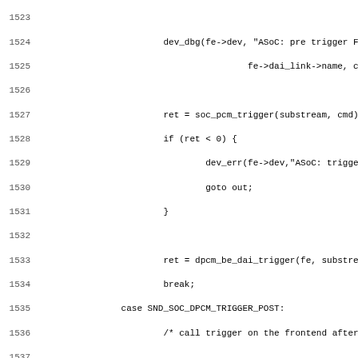[Figure (screenshot): Source code listing showing lines 1524-1555 of a C file implementing DPCM trigger functionality for ALSA/ASoC audio driver. Contains cases SND_SOC_DPCM_TRIGGER_POST and SND_SOC_DPCM_TRIGGER_BESPOKE with function calls to dev_dbg, soc_pcm_trigger, dpcm_be_dai_trigger, dev_err, goto out, and soc_pcm_bespoke_trigger.]